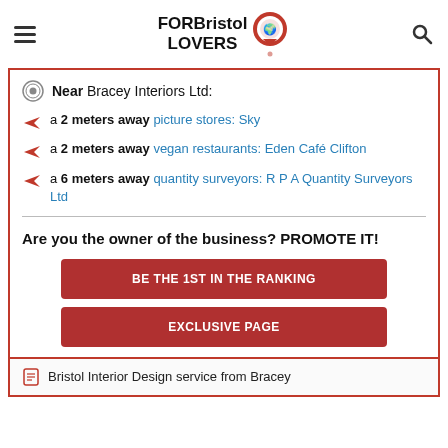FOR Bristol LOVERS
Near Bracey Interiors Ltd:
a 2 meters away picture stores: Sky
a 2 meters away vegan restaurants: Eden Café Clifton
a 6 meters away quantity surveyors: R P A Quantity Surveyors Ltd
Are you the owner of the business? PROMOTE IT!
BE THE 1ST IN THE RANKING
EXCLUSIVE PAGE
Bristol Interior Design service from Bracey